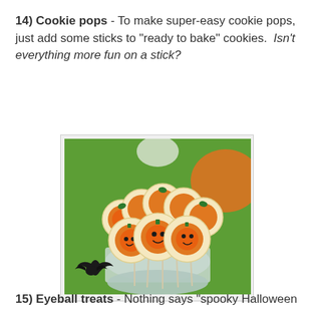14) Cookie pops - To make super-easy cookie pops, just add some sticks to "ready to bake" cookies. Isn't everything more fun on a stick?
[Figure (photo): Photo of Halloween pumpkin-face cookie pops on sticks arranged in a glass bowl, displayed on a green Halloween-themed tablecloth with black bat decorations.]
15) Eyeball treats - Nothing says "spooky Halloween